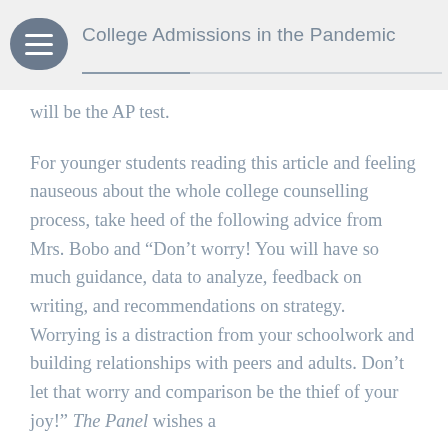College Admissions in the Pandemic
will be the AP test.
For younger students reading this article and feeling nauseous about the whole college counselling process, take heed of the following advice from Mrs. Bobo and “Don’t worry! You will have so much guidance, data to analyze, feedback on writing, and recommendations on strategy. Worrying is a distraction from your schoolwork and building relationships with peers and adults. Don’t let that worry and comparison be the thief of your joy!” The Panel wishes a
[partial bottom text cut off]